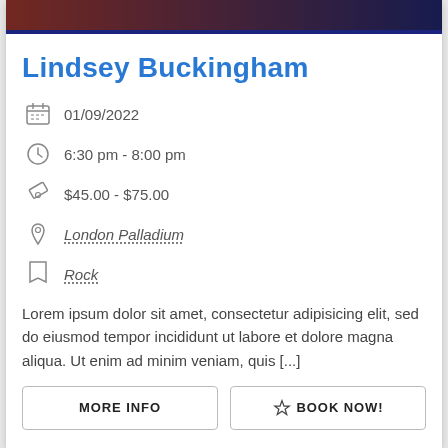[Figure (photo): Photo strip of Lindsey Buckingham at top of card, with red and dark overlay]
Lindsey Buckingham
01/09/2022
6:30 pm - 8:00 pm
$45.00 - $75.00
London Palladium
Rock
Lorem ipsum dolor sit amet, consectetur adipisicing elit, sed do eiusmod tempor incididunt ut labore et dolore magna aliqua. Ut enim ad minim veniam, quis [...]